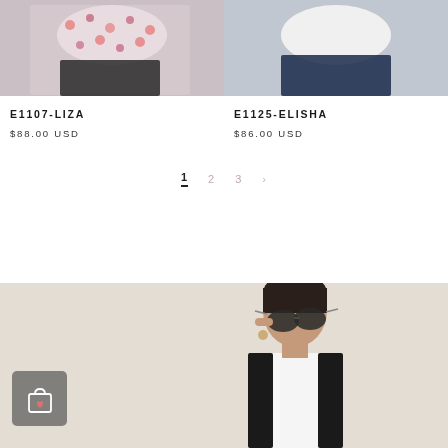[Figure (photo): Product photo of E1107-LIZA top with floral pink/black pattern on female model, cropped to torso]
E1107-LIZA
$88.00 USD
[Figure (photo): Product photo of E1125-ELISHA white top on female model, cropped to torso]
E1125-ELISHA
$86.00 USD
1   2   3   >
[Figure (photo): Female model wearing sunglasses and black vest jacket, posing with hand on glasses, beige background, with shopping bag icon overlay]